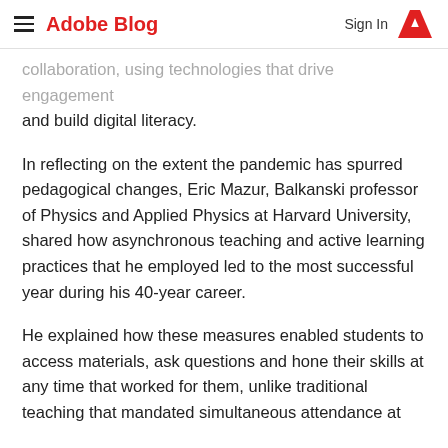Adobe Blog  Sign In
collaboration, using technologies that drive engagement and build digital literacy.
In reflecting on the extent the pandemic has spurred pedagogical changes, Eric Mazur, Balkanski professor of Physics and Applied Physics at Harvard University, shared how asynchronous teaching and active learning practices that he employed led to the most successful year during his 40-year career.
He explained how these measures enabled students to access materials, ask questions and hone their skills at any time that worked for them, unlike traditional teaching that mandated simultaneous attendance at